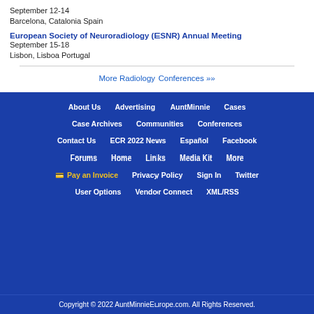September 12-14
Barcelona, Catalonia Spain
European Society of Neuroradiology (ESNR) Annual Meeting
September 15-18
Lisbon, Lisboa Portugal
More Radiology Conferences »»
About Us
Advertising
AuntMinnie
Cases
Case Archives
Communities
Conferences
Contact Us
ECR 2022 News
Español
Facebook
Forums
Home
Links
Media Kit
More
Pay an Invoice
Privacy Policy
Sign In
Twitter
User Options
Vendor Connect
XML/RSS
Copyright © 2022 AuntMinnieEurope.com. All Rights Reserved.